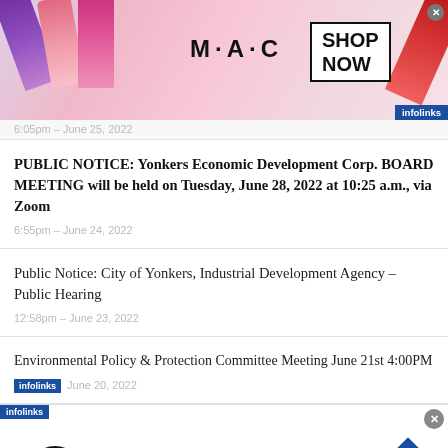[Figure (illustration): MAC Cosmetics advertisement banner showing colorful lipsticks and 'SHOP NOW' button with infolinks badge]
6:05pm – June 25, 2022
PUBLIC NOTICE: Yonkers Economic Development Corp. BOARD MEETING will be held on Tuesday, June 28, 2022 at 10:25 a.m., via Zoom
6:55pm – June 24, 2022
Public Notice: City of Yonkers, Industrial Development Agency – Public Hearing
12:58pm – June 23, 2022
Environmental Policy & Protection Committee Meeting June 21st 4:00PM
June 20, 2022
[Figure (infographic): Virginia Tire & Auto advertisement: Get Up To $110 Off a Set of 4 Select Firestone Tires]